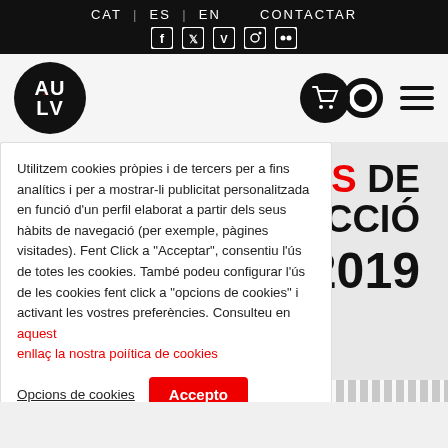CAT | ES | EN   CONTACTAR
[Figure (screenshot): Social media icons: Facebook, Twitter, Vimeo, Instagram, Flickr]
[Figure (logo): AULV circular logo in black with white text and red accent]
[Figure (illustration): Shopping cart and CD icons in black circles, hamburger menu icon]
Utilitzem cookies pròpies i de tercers per a fins analítics i per a mostrar-li publicitat personalitzada en funció d'un perfil elaborat a partir dels seus hàbits de navegació (per exemple, pàgines visitades). Fent Click a "Acceptar", consentiu l'ús de totes les cookies. També podeu configurar l'ús de les cookies fent click a "opcions de cookies" i activant les vostres preferències. Consulteu en aquest enllaç la nostra poiítica de cookies
Opcions de cookies   Accepto
US DE ECCIÓ 2019